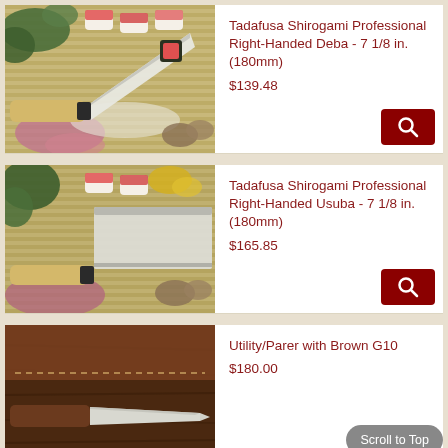[Figure (photo): Japanese Deba knife with sushi food items on bamboo mat background]
Tadafusa Shirogami Professional Right-Handed Deba - 7 1/8 in. (180mm)
$139.48
[Figure (photo): Japanese Usuba knife with sushi food items on bamboo mat background]
Tadafusa Shirogami Professional Right-Handed Usuba - 7 1/8 in. (180mm)
$165.85
[Figure (photo): Utility/Parer knife with brown handle on dark wooden surface]
Utility/Parer with Brown G10
$180.00